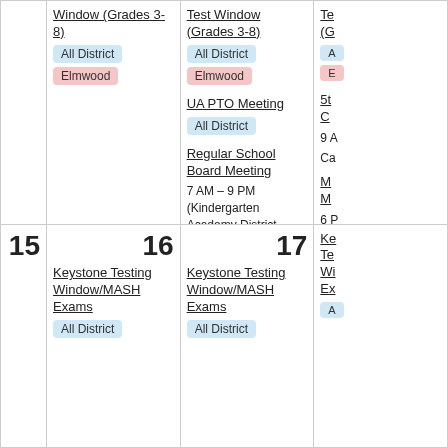| (empty) | Col1 | Col2 | Col3 |
| --- | --- | --- | --- |
|  | Window (Grades 3-8) [All District, Elmwood] | Test Window (Grades 3-8) [All District, Elmwood] / UA PTO Meeting [All District] / Regular School Board Meeting 7 AM – 9 PM (Kindergarten Academy District Office Community Room - 2nd Floor Mechanicsburg, PA 17055) [All District] | Te... (G... [A... [E... |
| 15 | 16 Keystone Testing Window/MASH Exams [All District] | 17 Keystone Testing Window/MASH Exams [All District] | Ke... Te... Wi... Ex... [A... |